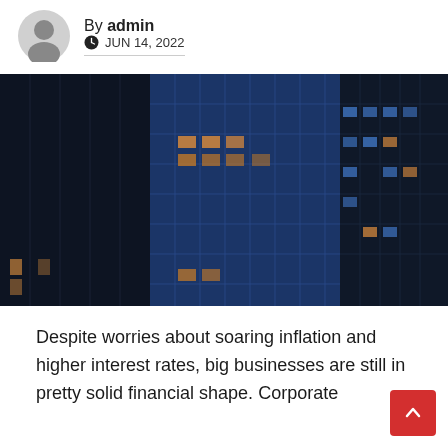By admin
JUN 14, 2022
[Figure (photo): Night photograph of tall glass office buildings with illuminated windows in blue and warm yellow tones]
Despite worries about soaring inflation and higher interest rates, big businesses are still in pretty solid financial shape. Corporate